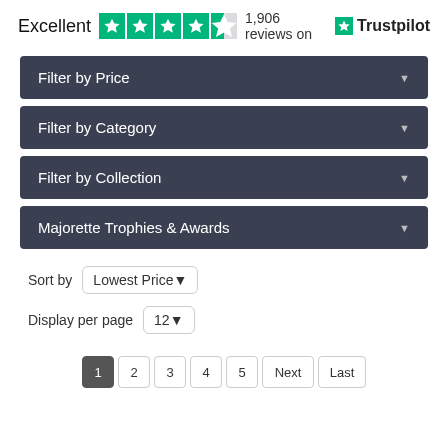Excellent  1,906 reviews on  Trustpilot
Filter by Price
Filter by Category
Filter by Collection
Majorette Trophies & Awards
Sort by  Lowest Price
Display per page  12
1  2  3  4  5  Next  Last